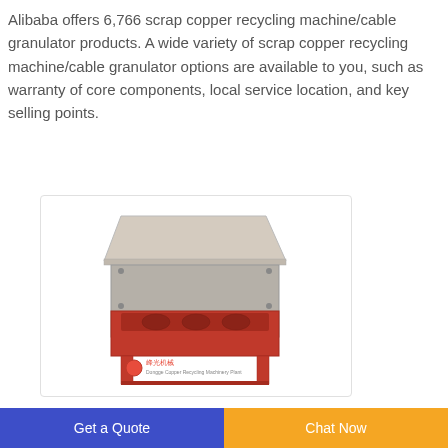Alibaba offers 6,766 scrap copper recycling machine/cable granulator products. A wide variety of scrap copper recycling machine/cable granulator options are available to you, such as warranty of core components, local service location, and key selling points.
[Figure (photo): A scrap copper recycling machine / cable granulator — a red and beige industrial shredder machine with a hopper on top, shown with a Chinese manufacturer logo at the bottom.]
Manufacturing & Supplier of copper wire
Get a Quote
Chat Now